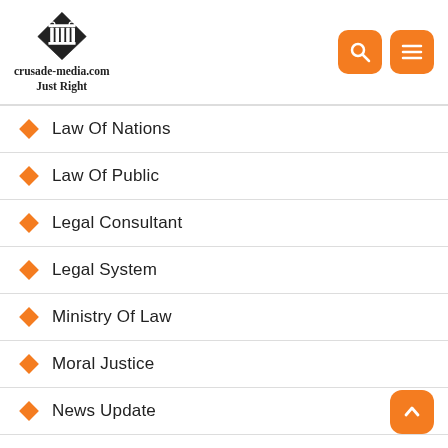[Figure (logo): crusade-media.com Just Right logo with column/pillar icon inside diamond shape]
Law Of Nations
Law Of Public
Legal Consultant
Legal System
Ministry Of Law
Moral Justice
News Update